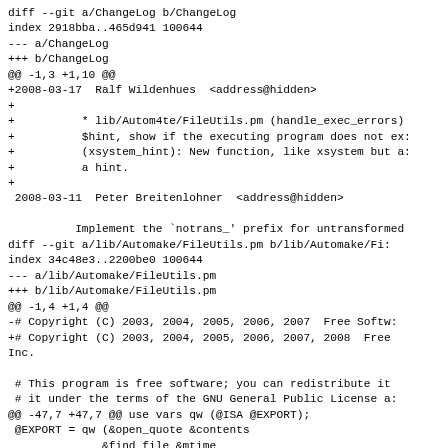diff --git a/ChangeLog b/ChangeLog
index 2918bba..465d941 100644
--- a/ChangeLog
+++ b/ChangeLog
@@ -1,3 +1,10 @@
+2008-03-17  Ralf Wildenhues  <address@hidden>
+
+          * lib/Autom4te/FileUtils.pm (handle_exec_errors):
+          $hint, show if the executing program does not ex:
+          (xsystem_hint): New function, like xsystem but a:
+          a hint.
+
 2008-03-11  Peter Breitenlohner  <address@hidden>

          Implement the `notrans_' prefix for untransformed
diff --git a/lib/Automake/FileUtils.pm b/lib/Automake/Fi:
index 34c48e3..2200be0 100644
--- a/lib/Automake/FileUtils.pm
+++ b/lib/Automake/FileUtils.pm
@@ -1,4 +1,4 @@
-# Copyright (C) 2003, 2004, 2005, 2006, 2007  Free Softw:
+# Copyright (C) 2003, 2004, 2005, 2006, 2007, 2008  Free
Inc.

 # This program is free software; you can redistribute it
 # it under the terms of the GNU General Public License a:
@@ -47,7 +47,7 @@ use vars qw (@ISA @EXPORT);
 @EXPORT = qw (&open_quote &contents
              &find_file &mtime
              &update_file &up_to_date p